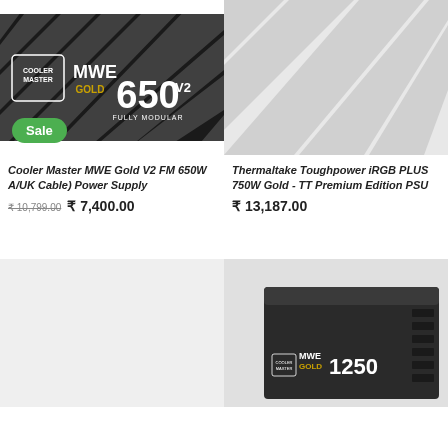[Figure (photo): Cooler Master MWE Gold 650 V2 Fully Modular power supply unit, black with diagonal stripe design and gold/white text branding. Green 'Sale' badge in bottom left corner.]
Cooler Master MWE Gold V2 FM 650W A/UK Cable) Power Supply
₹ 10,799.00  ₹ 7,400.00
[Figure (photo): Thermaltake Toughpower iRGB PLUS 750W Gold TT Premium Edition PSU - gray placeholder background with partial diagonal stripe visible.]
Thermaltake Toughpower iRGB PLUS 750W Gold - TT Premium Edition PSU
₹ 13,187.00
[Figure (photo): Light gray placeholder background for a power supply product.]
[Figure (photo): Cooler Master MWE Gold 1250 power supply unit, black, shown from rear angle with modular cable ports visible.]